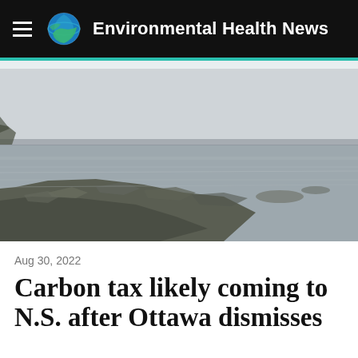Environmental Health News
[Figure (photo): Coastal rocky shoreline with calm grey water and overcast sky, Nova Scotia landscape]
Aug 30, 2022
Carbon tax likely coming to N.S. after Ottawa dismisses